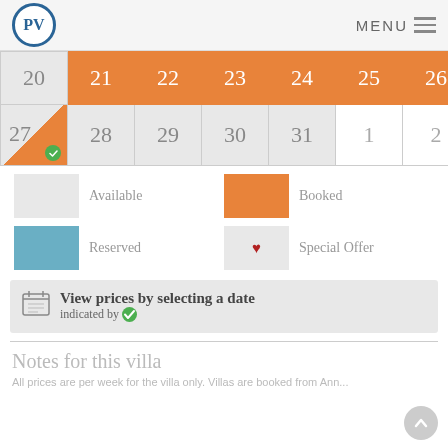PV MENU
[Figure (other): Calendar showing dates 20-26 (orange/booked row) and 27-31, 1, 2 row with 27 having orange/gray split corner and green check]
Available | Booked | Reserved | Special Offer
View prices by selecting a date indicated by [green check]
Notes for this villa
All prices are per week for the villa only. Villas are booked from Ann...